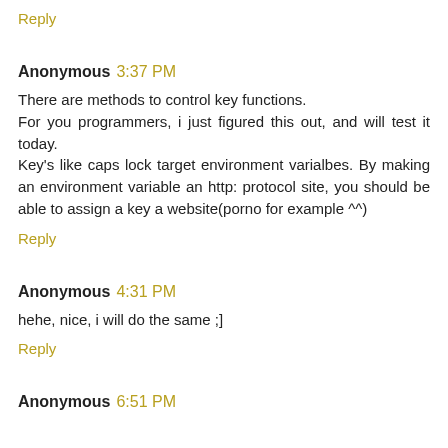Reply
Anonymous 3:37 PM
There are methods to control key functions.
For you programmers, i just figured this out, and will test it today.
Key's like caps lock target environment varialbes. By making an environment variable an http: protocol site, you should be able to assign a key a website(porno for example ^^)
Reply
Anonymous 4:31 PM
hehe, nice, i will do the same ;]
Reply
Anonymous 6:51 PM